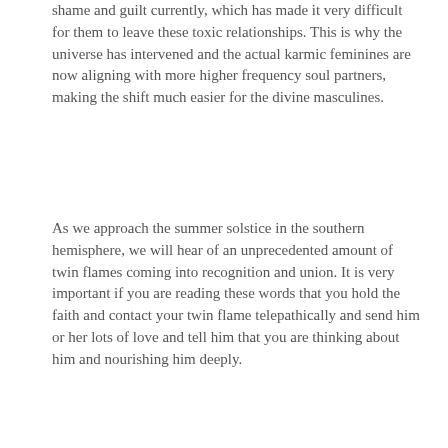shame and guilt currently, which has made it very difficult for them to leave these toxic relationships. This is why the universe has intervened and the actual karmic feminines are now aligning with more higher frequency soul partners, making the shift much easier for the divine masculines.
As we approach the summer solstice in the southern hemisphere, we will hear of an unprecedented amount of twin flames coming into recognition and union. It is very important if you are reading these words that you hold the faith and contact your twin flame telepathically and send him or her lots of love and tell him that you are thinking about him and nourishing him deeply.
This is very, very important as so many of the divine masculine twin flames have suffered an unprecedented amount of PTSD from being incarnated into the matrix.
The energies are now building for the 6:6 numerological portal, and it is very important that as many of us as possible gather together in our ascension groups, in order to unify our intentions on this powerful portal date.